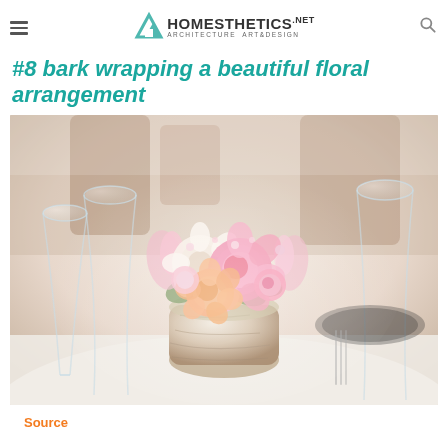Homesthetics.net — Architecture Art & Design
#8 bark wrapping a beautiful floral arrangement
[Figure (photo): A pink and peach floral arrangement in a rustic birch bark vase, set on a white tablecloth surrounded by wine glasses and table settings, outdoor wedding reception setting.]
Source